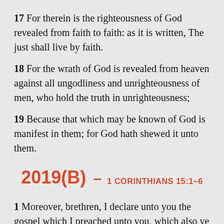17 For therein is the righteousness of God revealed from faith to faith: as it is written, The just shall live by faith.
18 For the wrath of God is revealed from heaven against all ungodliness and unrighteousness of men, who hold the truth in unrighteousness;
19 Because that which may be known of God is manifest in them; for God hath shewed it unto them.
2019(B) – 1 CORINTHIANS 15:1–6
1 Moreover, brethren, I declare unto you the gospel which I preached unto you, which also ye have received, and wherein ye stand;
2 By which also ye are saved, if ye keep in memory